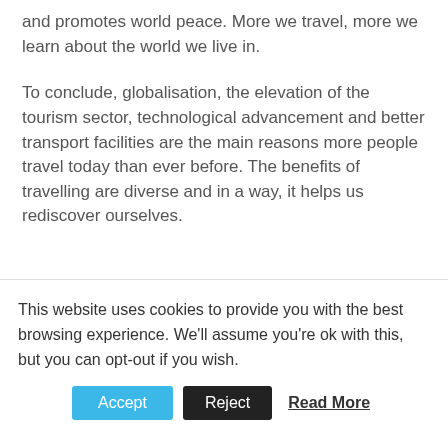and promotes world peace. More we travel, more we learn about the world we live in.
To conclude, globalisation, the elevation of the tourism sector, technological advancement and better transport facilities are the main reasons more people travel today than ever before. The benefits of travelling are diverse and in a way, it helps us rediscover ourselves.
This website uses cookies to provide you with the best browsing experience. We'll assume you're ok with this, but you can opt-out if you wish.